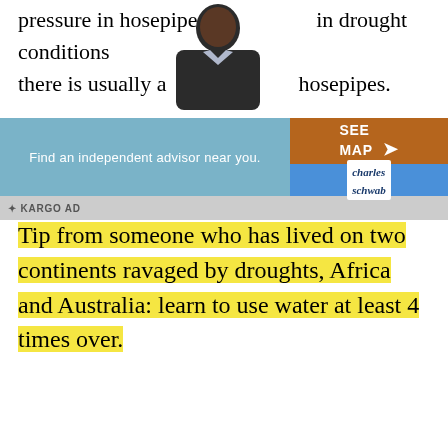pressure in hosepipes, in drought conditions there is usually a hosepipes.
[Figure (photo): A man in a suit photographed from the torso up, partially obscuring the text behind him.]
[Figure (other): Advertisement banner: 'Find an independent advisor near you.' with a 'SEE MAP' button and Charles Schwab logo. KARGO AD label shown.]
Tip from someone who has lived on two continents ravaged by droughts, Africa and Australia: learn to use water at least 4 times over.